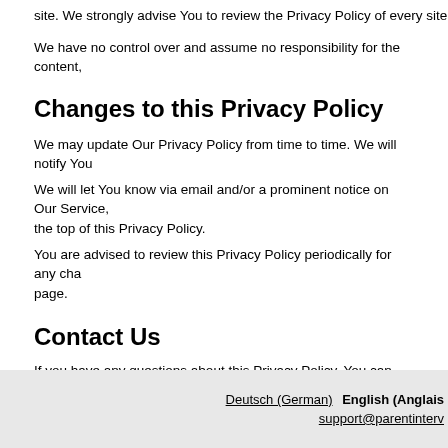site. We strongly advise You to review the Privacy Policy of every site
We have no control over and assume no responsibility for the content,
Changes to this Privacy Policy
We may update Our Privacy Policy from time to time. We will notify You
We will let You know via email and/or a prominent notice on Our Service, the top of this Privacy Policy.
You are advised to review this Privacy Policy periodically for any changes. page.
Contact Us
If you have any questions about this Privacy Policy, You can contact us
By email: privacy@parentinterview.com
Deutsch (German)  English (Anglais
support@parentinterv